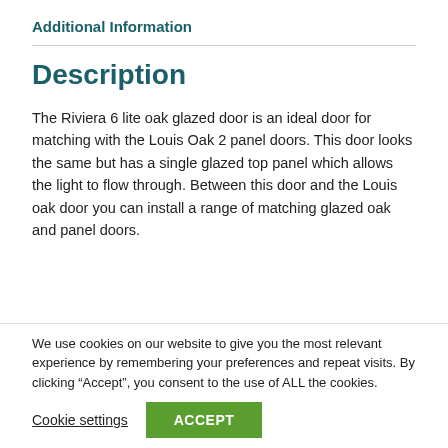Additional Information
Description
The Riviera 6 lite oak glazed door is an ideal door for matching with the Louis Oak 2 panel doors. This door looks the same but has a single glazed top panel which allows the light to flow through. Between this door and the Louis oak door you can install a range of matching glazed oak and panel doors.
We use cookies on our website to give you the most relevant experience by remembering your preferences and repeat visits. By clicking “Accept”, you consent to the use of ALL the cookies.
Cookie settings  ACCEPT